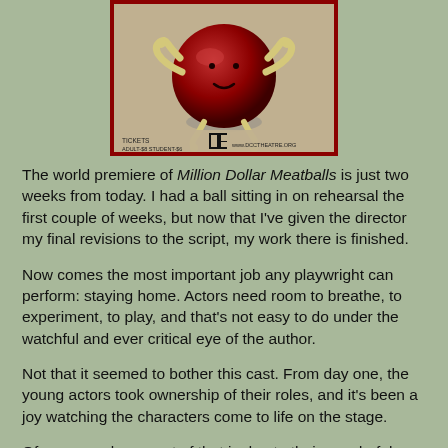[Figure (illustration): Theater poster illustration showing a large red round character/meatball figure with small limbs against a beige background, with text at bottom reading 'TICKETS ADULT-$8 STUDENT-$6' and 'www.DCCTHEATRE.ORG', with a red border frame.]
The world premiere of Million Dollar Meatballs is just two weeks from today. I had a ball sitting in on rehearsal the first couple of weeks, but now that I've given the director my final revisions to the script, my work there is finished.
Now comes the most important job any playwright can perform: staying home. Actors need room to breathe, to experiment, to play, and that's not easy to do under the watchful and ever critical eye of the author.
Not that it seemed to bother this cast. From day one, the young actors took ownership of their roles, and it's been a joy watching the characters come to life on the stage.
Of course, a large part of that is due to their wonderful director, Ann Kauffman. She deserves credit of the strongest kind —